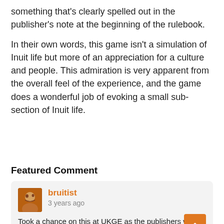something that's clearly spelled out in the publisher's note at the beginning of the rulebook.
In their own words, this game isn't a simulation of Inuit life but more of an appreciation for a culture and people. This admiration is very apparent from the overall feel of the experience, and the game does a wonderful job of evoking a small sub-section of Inuit life.
Featured Comment
bruitist
3 years ago
Took a chance on this at UKGE as the publishers were doing a great deal and it looked so gorgeous. Really